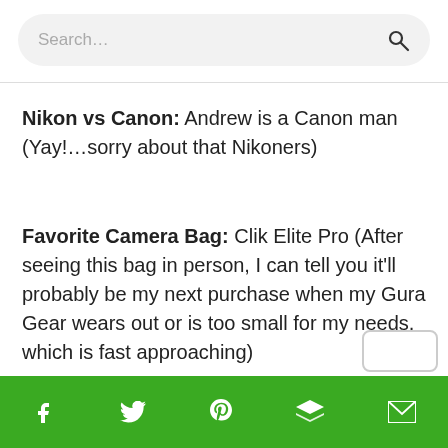Search...
Nikon vs Canon: Andrew is a Canon man (Yay!…sorry about that Nikoners)
Favorite Camera Bag: Clik Elite Pro (After seeing this bag in person, I can tell you it'll probably be my next purchase when my Gura Gear wears out or is too small for my needs, which is fast approaching)
Social share bar: Facebook, Twitter, Pinterest, Buffer, Email